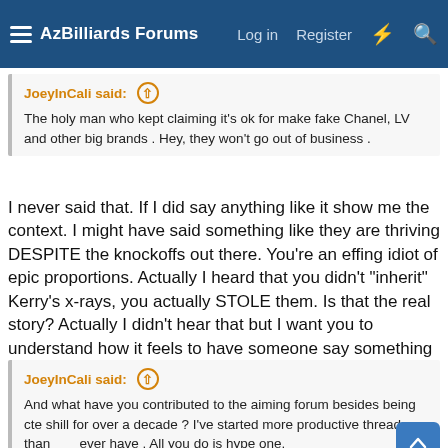AzBilliards Forums — Log in  Register
JoeyInCali said: ↑
The holy man who kept claiming it's ok for make fake Chanel, LV and other big brands . Hey, they won't go out of business .
I never said that. If I did say anything like it show me the context. I might have said something like they are thriving DESPITE the knockoffs out there. You're an effing idiot of epic proportions. Actually I heard that you didn't "inherit" Kerry's x-rays, you actually STOLE them. Is that the real story? Actually I didn't hear that but I want you to understand how it feels to have someone say something accusing you of a crime that is not true.
JoeyInCali said: ↑
And what have you contributed to the aiming forum besides being cte shill for over a decade ? I've started more productive threads than you ever have . All you do is hype one.